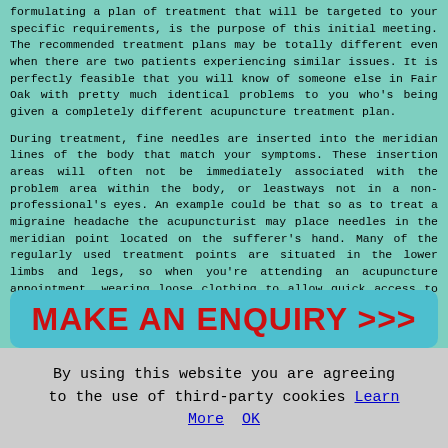formulating a plan of treatment that will be targeted to your specific requirements, is the purpose of this initial meeting. The recommended treatment plans may be totally different even when there are two patients experiencing similar issues. It is perfectly feasible that you will know of someone else in Fair Oak with pretty much identical problems to you who's being given a completely different acupuncture treatment plan.
During treatment, fine needles are inserted into the meridian lines of the body that match your symptoms. These insertion areas will often not be immediately associated with the problem area within the body, or leastways not in a non-professional's eyes. An example could be that so as to treat a migraine headache the acupuncturist may place needles in the meridian point located on the sufferer's hand. Many of the regularly used treatment points are situated in the lower limbs and legs, so when you're attending an acupuncture appointment, wearing loose clothing to allow quick access to these areas is always a good idea.
[Figure (infographic): Cyan rounded rectangle banner with bold red text reading 'MAKE AN ENQUIRY >>>' with arrow symbols]
By using this website you are agreeing to the use of third-party cookies Learn More  OK